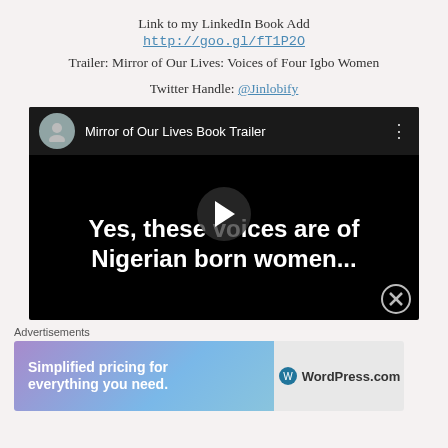Link to my LinkedIn Book Add
http://goo.gl/fT1P2O
Trailer: Mirror of Our Lives: Voices of Four Igbo Women
Twitter Handle: @Jinlobify
[Figure (screenshot): YouTube video embed showing 'Mirror of Our Lives Book Trailer' with text 'Yes, these voices are of Nigerian born women...' on a black background with a play button]
Advertisements
[Figure (screenshot): WordPress.com advertisement banner with gradient background, text 'Simplified pricing for everything you need.' and WordPress.com logo]